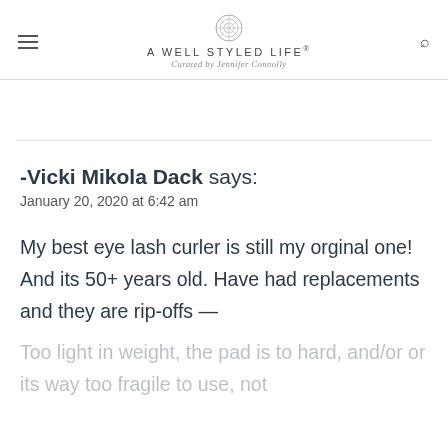A WELL STYLED LIFE® | Curated by Jennifer Connolly
-Vicki Mikola Dack says:
January 20, 2020 at 6:42 am
My best eye lash curler is still my orginal one! And its 50+ years old. Have had replacements and they are rip-offs —
Too light in weight, the pad is to hard, and/or or its way too fragile to use, not